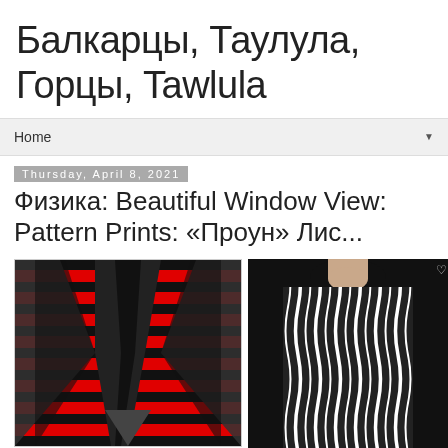Балкарцы, Таулула, Горцы, Tawlula
Home
Thursday, April 8, 2021
Физика: Beautiful Window View: Pattern Prints: «Проун» Лис...
[Figure (illustration): Red and black geometric striped pattern with triangular/rectangular forms creating a perspective illusion]
[Figure (photo): Person wearing a black and white wavy optical illusion patterned t-shirt, cropped to show torso and neck area]